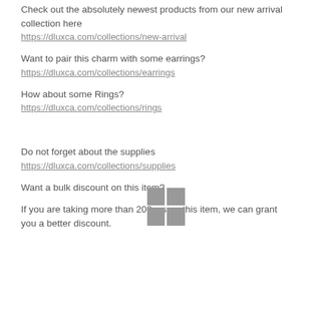Check out the absolutely newest products from our new arrival collection here
https://dluxca.com/collections/new-arrival
Want to pair this charm with some earrings?
https://dluxca.com/collections/earrings
How about some Rings?
https://dluxca.com/collections/rings
[Figure (logo): 2x2 grid of gray squares logo]
Do not forget about the supplies
https://dluxca.com/collections/supplies
Want a bulk discount on this item?
If you are taking more than 200pcs on this item, we can grant you a better discount.